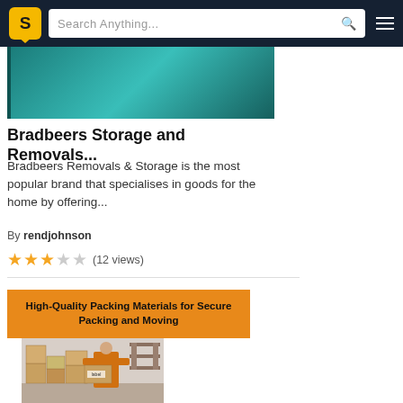S  Search Anything...  ☰
[Figure (screenshot): Teal/dark image cropped at top — partial card image for Bradbeers Storage and Removals listing]
Bradbeers Storage and Removals...
Bradbeers Removals & Storage is the most popular brand that specialises in goods for the home by offering...
By rendjohnson
★★★☆☆ (12 views)
[Figure (screenshot): Second listing card: orange banner reading 'High-Quality Packing Materials for Secure Packing and Moving' with a photo below showing a worker packing cardboard boxes in a warehouse]